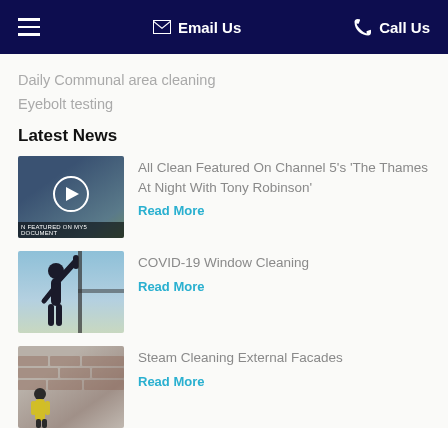≡  Email Us  Call Us
Daily Communal area cleaning
Eyebolt testing
Latest News
[Figure (photo): Video thumbnail showing a person in high-visibility jacket with play button overlay and text 'N FEATURED ON MY5 DOCUMENT']
All Clean Featured On Channel 5's 'The Thames At Night With Tony Robinson'
Read More
[Figure (photo): Silhouette of a person with arm raised cleaning a window, against a blue sky background]
COVID-19 Window Cleaning
Read More
[Figure (photo): Person in high-visibility jacket near a brick wall or facade, blurred background]
Steam Cleaning External Facades
Read More